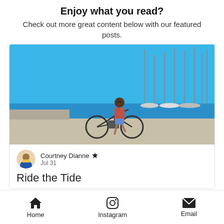Enjoy what you read?
Check out more great content below with our featured posts.
[Figure (photo): Woman posing with a bicycle at a marina/harbor with sailboats and blue sky in the background.]
Courtney Dianne 👑
Jul 31
Ride the Tide
Home   Instagram   Email